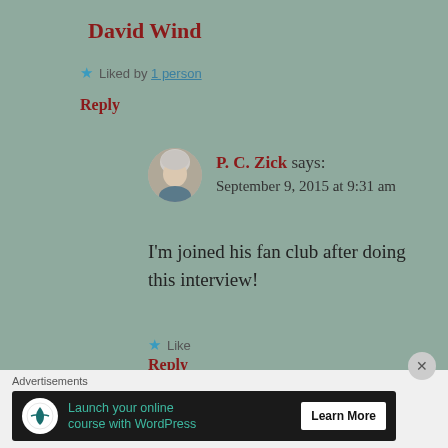David Wind
★ Liked by 1 person
Reply
[Figure (photo): Avatar photo of P. C. Zick, a woman with short gray hair]
P. C. Zick says:
September 9, 2015 at 9:31 am
I'm joined his fan club after doing this interview!
★ Like
Reply
Advertisements
[Figure (infographic): Advertisement banner: Launch your online course with WordPress — Learn More button]
✕ (close button)